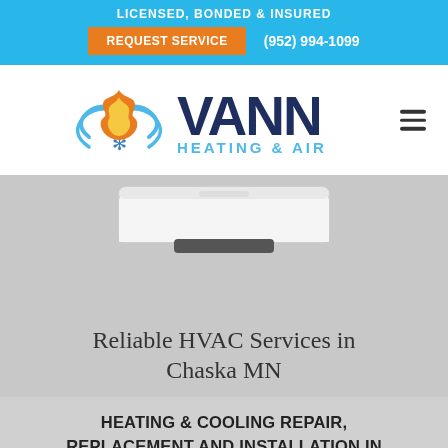LICENSED, BONDED & INSURED
REQUEST SERVICE   (952) 994-1099
[Figure (logo): Vann Heating & Air logo with flame and snowflake icon]
[Figure (photo): White wall-mounted mini-split AC unit on gray background]
Reliable HVAC Services in Chaska MN
HEATING & COOLING REPAIR, REPLACEMENT AND INSTALLATION IN CHASKA